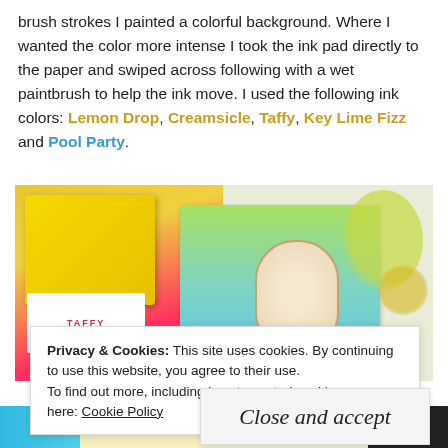brush strokes I painted a colorful background. Where I wanted the color more intense I took the ink pad directly to the paper and swiped across following with a wet paintbrush to help the ink move. I used the following ink colors: Lemon Drop, Creamsicle, Taffy, Key Lime Fizz and Pool Party.
[Figure (photo): Photo showing ink pads (yellow and pink/red Taffy ink pad) next to a greeting card with a colorful blended background (lime green to teal gradient) featuring a French bulldog character wearing sunglasses. Yellow-green splatter marks visible on the right.]
Privacy & Cookies: This site uses cookies. By continuing to use this website, you agree to their use.
To find out more, including how to control cookies, see here: Cookie Policy
Close and accept
[Figure (photo): Bottom strip showing partial images: left shows teal/blue, middle shows Days of Summer text with paw print illustration, right shows dark background with handwriting.]